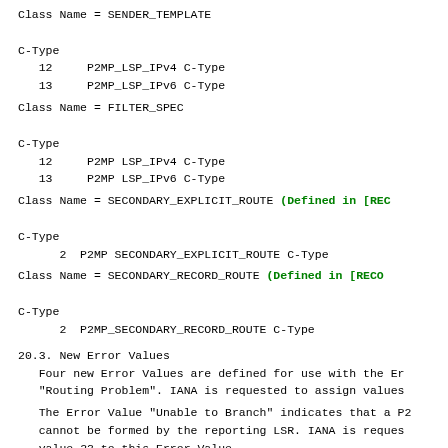Class Name = SENDER_TEMPLATE

C-Type
   12     P2MP_LSP_IPv4 C-Type
   13     P2MP_LSP_IPv6 C-Type
Class Name = FILTER_SPEC

C-Type
   12     P2MP LSP_IPv4 C-Type
   13     P2MP LSP_IPv6 C-Type
Class Name = SECONDARY_EXPLICIT_ROUTE (Defined in [REC

C-Type
      2  P2MP SECONDARY_EXPLICIT_ROUTE C-Type
Class Name = SECONDARY_RECORD_ROUTE (Defined in [RECO

C-Type
      2  P2MP_SECONDARY_RECORD_ROUTE C-Type
20.3. New Error Values
Four new Error Values are defined for use with the Er
"Routing Problem". IANA is requested to assign values
The Error Value "Unable to Branch" indicates that a P2
cannot be formed by the reporting LSR. IANA is reques
value 23 to this Error Value.